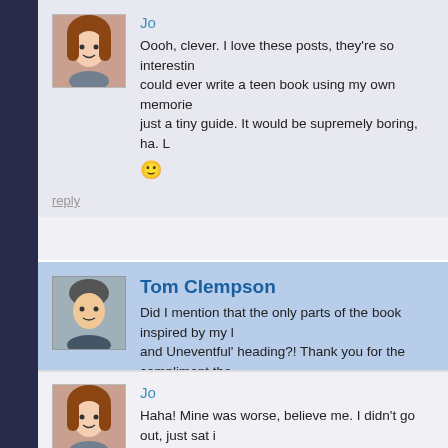Jo
Oooh, clever. I love these posts, they're so interesting. I could ever write a teen book using my own memories with just a tiny guide. It would be supremely boring, ha. L 🙂
reply
Tom Clempson
Did I mention that the only parts of the book inspired by my life and Uneventful' heading?! Thank you for the compliment tho
reply
Jo
Haha! Mine was worse, believe me. I didn't go out, just sat in night. It was only from about 19 that I found I actually got a s
reply